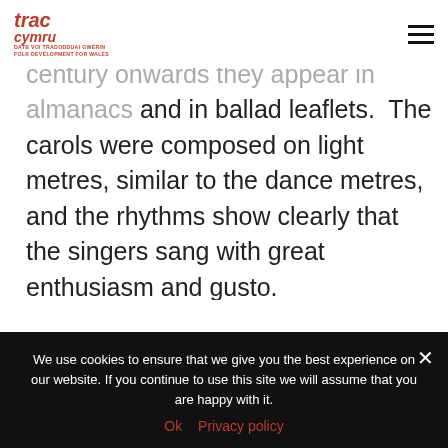trac cymru — DATN VOI TRADODDUAI GWERIN / FOLK DEVELOPMENT FOR WALES
manuscripts, but from the eighteenth century onwards they appear in almanacs and in ballad leaflets.  The carols were composed on light metres, similar to the dance metres, and the rhythms show clearly that the singers sang with great enthusiasm and gusto.

Why all the celebrations and merriment? At the time people believed that the energy they created by dancing and
We use cookies to ensure that we give you the best experience on our website. If you continue to use this site we will assume that you are happy with it.
Ok   Privacy policy